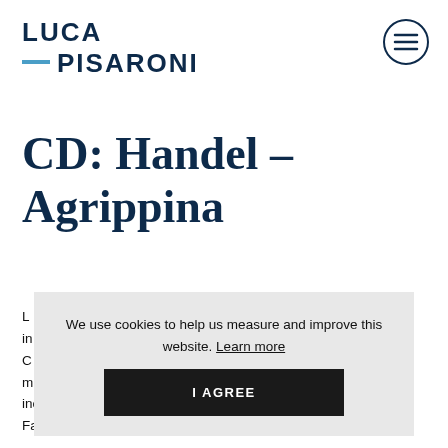LUCA PISARONI
CD: Handel – Agrippina
L... and includes Joyce DiDonato, Marie-Nicole Lemieux, Franco Fagioli, Elsa Benoit and Jakub Józef Orlinski
We use cookies to help us measure and improve this website. Learn more
I AGREE